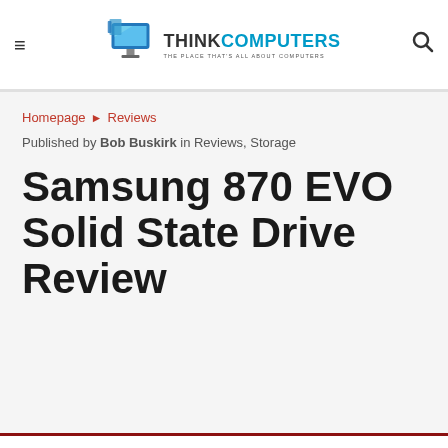ThinkComputers — THE PLACE THAT'S ALL ABOUT COMPUTERS
Homepage ▶ Reviews
Published by Bob Buskirk in Reviews, Storage
Samsung 870 EVO Solid State Drive Review
This website uses cookies. Accept
Twitter, Email, Pinterest, LinkedIn, WhatsApp, LINE social share buttons